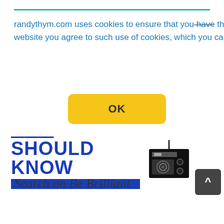randythym.com uses cookies to ensure that you have the best experience on the website. By staying on the website you agree to such use of cookies, which you can of course delete after your visit.  Cookies FAQ
[Figure (screenshot): Yellow OK button (cookie consent button) with rounded corners]
[Figure (logo): Should Know logo with blue bold text and radio icon, blue horizontal bar below]
Search on Be Brilliant
[Figure (screenshot): Search input box with red rounded border and a teal search icon button on the right]